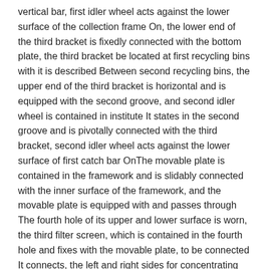vertical bar, first idler wheel acts against the lower surface of the collection frame On, the lower end of the third bracket is fixedly connected with the bottom plate, the third bracket be located at first recycling bins with it is described Between second recycling bins, the upper end of the third bracket is horizontal and is equipped with the second groove, and second idler wheel is contained in institute It states in the second groove and is pivotally connected with the third bracket, second idler wheel acts against the lower surface of first catch bar On The movable plate is contained in the framework and is slidably connected with the inner surface of the framework, and the movable plate is equipped with and passes through The fourth hole of its upper and lower surface is worn, the third filter screen, which is contained in the fourth hole and fixes with the movable plate, to be connected It connects, the left and right sides for concentrating block to set there are two and to be located at the fourth hole, the cross section for concentrating block is in straight Angle triangle, the lower surface for concentrating block are fixedly connected with the upper surface of the movable plate, the side for concentrating block and institute The inner surface for stating framework is slidably connected, and the upper end of the collection center is directed at the fourth hole and the lower